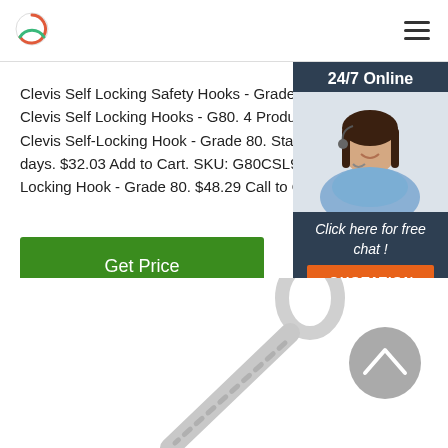Logo and navigation menu
Clevis Self Locking Safety Hooks - Grade 80 Clevis Self Locking Hooks - G80. 4 Products Filter Clevis Self-Locking Hook - Grade 80. Standard Le days. $32.03 Add to Cart. SKU: G80CSL932. 3/8' C Locking Hook - Grade 80. $48.29 Call to Order ...
Get Price
[Figure (photo): Chat widget with a customer service representative photo, showing '24/7 Online', 'Click here for free chat!' and a QUOTATION button]
[Figure (photo): Product photo of a clevis self locking safety hook, metallic silver color, showing the hook and eye bolt parts]